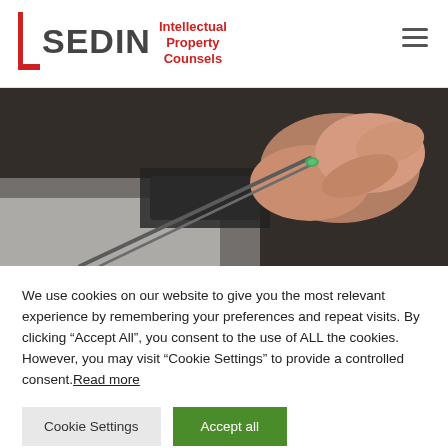[Figure (logo): SEDIN Intellectual Property Counsels logo with red bracket and dark grey SEDIN text, red IPC text]
[Figure (photo): Close-up photo of a hand holding tweezers picking up a small green gemstone or component on a surface]
We use cookies on our website to give you the most relevant experience by remembering your preferences and repeat visits. By clicking “Accept All”, you consent to the use of ALL the cookies. However, you may visit "Cookie Settings" to provide a controlled consent. Read more
Cookie Settings | Accept all